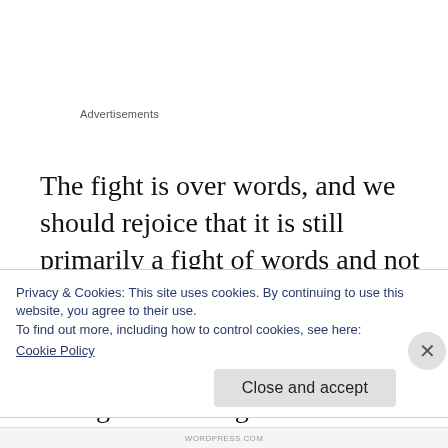Advertisements
The fight is over words, and we should rejoice that it is still primarily a fight of words and not swords. But we know that the words of God are swords – a mighty weapon for tearing down strongholds. The good news is that we serve the one who speaks powerful words, who is the
Privacy & Cookies: This site uses cookies. By continuing to use this website, you agree to their use.
To find out more, including how to control cookies, see here:
Cookie Policy
Close and accept